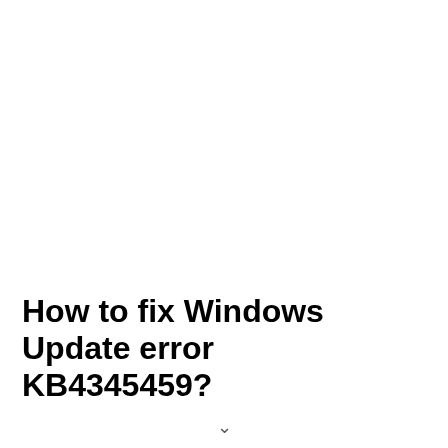How to fix Windows Update error KB4345459?